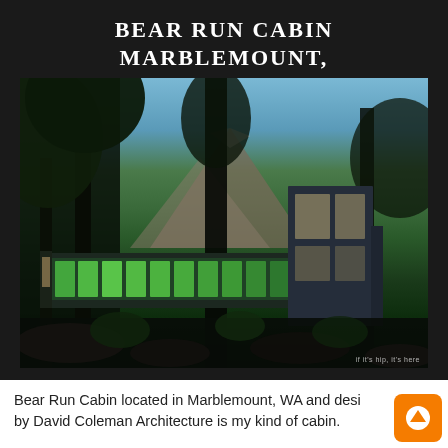BEAR RUN CABIN MARBLEMOUNT, WASHINGTON
[Figure (photo): Exterior photo of Bear Run Cabin in Marblemount, WA at dusk. The modern cabin features a low horizontal wing with translucent green-lit panels and a taller dark two-story tower. Trees frame the foreground and mountains are visible behind. Watermark reads 'if it's hip, it's here'.]
Bear Run Cabin located in Marblemount, WA and designed by David Coleman Architecture is my kind of cabin.